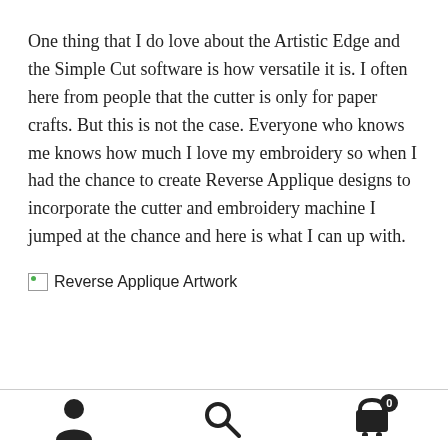One thing that I do love about the Artistic Edge and the Simple Cut software is how versatile it is. I often here from people that the cutter is only for paper crafts. But this is not the case. Everyone who knows me knows how much I love my embroidery so when I had the chance to create Reverse Applique designs to incorporate the cutter and embroidery machine I jumped at the chance and here is what I can up with.
[Figure (other): Broken image placeholder with alt text 'Reverse Applique Artwork']
Navigation footer with person icon, search icon, and shopping cart icon with badge showing 0